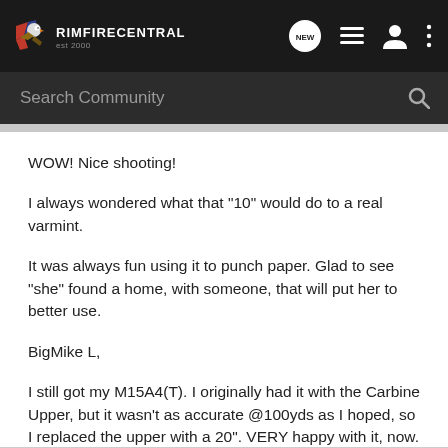RIMFIRECENTRAL
Search Community
WOW! Nice shooting!
I always wondered what that "10" would do to a real varmint.
It was always fun using it to punch paper. Glad to see "she" found a home, with someone, that will put her to better use.
BigMike L,
I still got my M15A4(T). I originally had it with the Carbine Upper, but it wasn't as accurate @100yds as I hoped, so I replaced the upper with a 20". VERY happy with it, now.